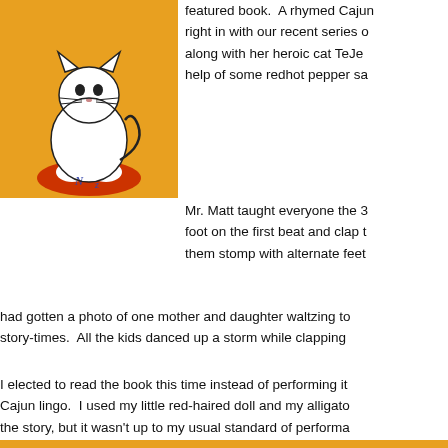[Figure (illustration): Book cover illustration showing a white cat sitting on a red/orange cushion against a yellow/orange background, with decorative text elements]
featured book.  A rhymed Cajun right in with our recent series o along with her heroic cat TeJe help of some redhot pepper sa
Mr. Matt taught everyone the 3 foot on the first beat and clap t them stomp with alternate feet had gotten a photo of one mother and daughter waltzing to story-times.  All the kids danced up a storm while clapping
I elected to read the book this time instead of performing it Cajun lingo.  I used my little red-haired doll and my alligato the story, but it wasn't up to my usual standard of performa thing fell flat, but then Eli latched onto the book afterwards pointed out many details that I had overlooked.  I figured th having spent so much time looking at it in the library, but to him.